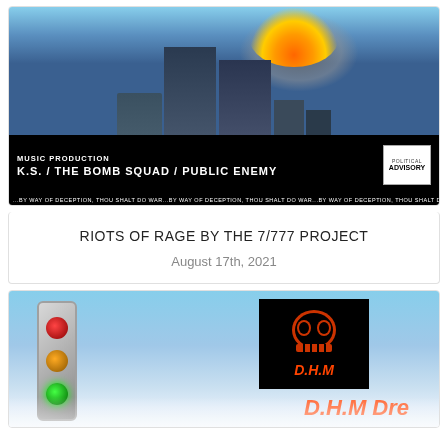[Figure (illustration): Album cover for Riots of Rage by The 7/777 Project. Shows twin towers with explosion/smoke, dark buildings, black bar at bottom reading MUSIC PRODUCTION K.S. / THE BOMB SQUAD / PUBLIC ENEMY with Parental Advisory sticker. Bottom strip reads ...BY WAY OF DECEPTION, THOU SHALT DO WAR...]
RIOTS OF RAGE BY THE 7/777 PROJECT
August 17th, 2021
[Figure (illustration): Album cover for D.H.M Dre. Shows a traffic light with green lit, blue sky background, DHM logo with skull graphic on black background, and D.H.M Dre text in orange.]